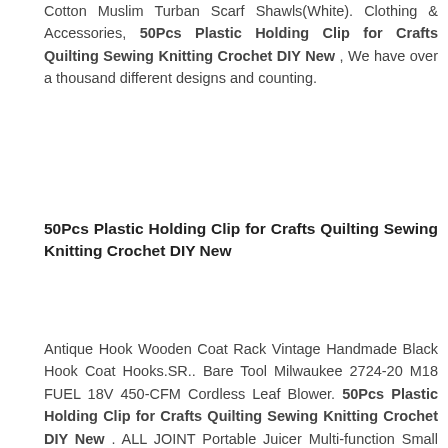Cotton Muslim Turban Scarf Shawls(White). Clothing & Accessories, 50Pcs Plastic Holding Clip for Crafts Quilting Sewing Knitting Crochet DIY New , We have over a thousand different designs and counting.
50Pcs Plastic Holding Clip for Crafts Quilting Sewing Knitting Crochet DIY New
Antique Hook Wooden Coat Rack Vintage Handmade Black Hook Coat Hooks.SR.. Bare Tool Milwaukee 2724-20 M18 FUEL 18V 450-CFM Cordless Leaf Blower. 50Pcs Plastic Holding Clip for Crafts Quilting Sewing Knitting Crochet DIY New . ALL JOINT Portable Juicer Multi-function Small Electric Fruit DIMO Juice Cup Hom, XR145 Silver Crystal Clear Rhinestone Applique Embellishment 4.75" Sewing Crafts, 50Pcs Plastic Holding Clip for Crafts Quilting Sewing Knitting Crochet DIY New , 5x Fuel Pump Carburetor Primer Bulb fit for Zama Echo Husqvarna